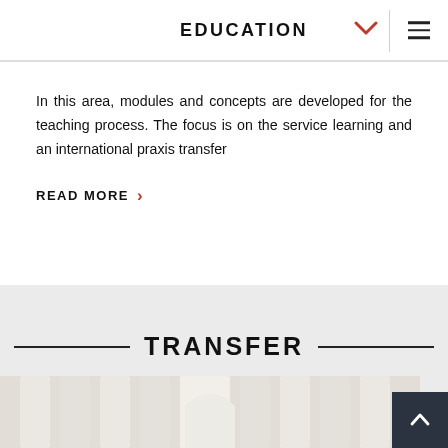EDUCATION
In this area, modules and concepts are developed for the teaching process. The focus is on the service learning and an international praxis transfer
READ MORE ›
TRANSFER
[Figure (photo): Interior architectural photo showing arched columns and hallway of a building]